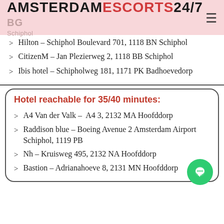AMSTERDAMESCORTS24/7 BG Schiphol
Hilton – Schiphol Boulevard 701, 1118 BN Schiphol
CitizenM – Jan Plezierweg 2, 1118 BB Schiphol
Ibis hotel – Schipholweg 181, 1171 PK Badhoevedorp
Hotel reachable for 35/40 minutes:
A4 Van der Valk – A4 3, 2132 MA Hoofddorp
Raddison blue – Boeing Avenue 2 Amsterdam Airport Schiphol, 1119 PB
Nh – Kruisweg 495, 2132 NA Hoofddorp
Bastion – Adrianahoeve 8, 2131 MN Hoofddorp